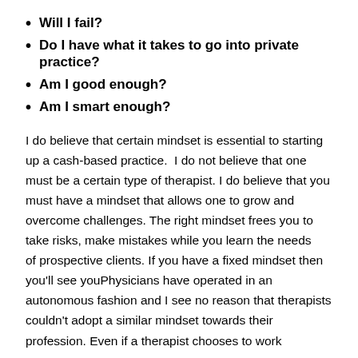Will I fail?
Do I have what it takes to go into private practice?
Am I good enough?
Am I smart enough?
I do believe that certain mindset is essential to starting up a cash-based practice.  I do not believe that one must be a certain type of therapist. I do believe that you must have a mindset that allows one to grow and overcome challenges. The right mindset frees you to take risks, make mistakes while you learn the needs of prospective clients. If you have a fixed mindset then you'll see youPhysicians have operated in an autonomous fashion and I see no reason that therapists couldn't adopt a similar mindset towards their profession. Even if a therapist chooses to work